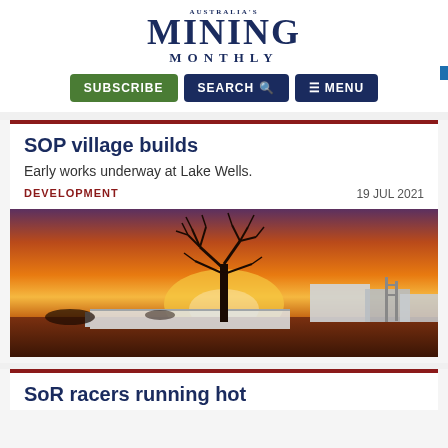AUSTRALIA'S MINING MONTHLY
[Figure (logo): Australia's Mining Monthly logo with large MINING text and MONTHLY subtitle in navy blue]
[Figure (screenshot): Navigation buttons: SUBSCRIBE (green), SEARCH (navy with magnifier icon), MENU (navy with hamburger icon)]
SOP village builds
Early works underway at Lake Wells.
DEVELOPMENT   19 JUL 2021
[Figure (photo): Sunset photo at a mining site with a silhouetted tree against an orange and purple sky, with white portable buildings/accommodation on the right]
SoR racers running hot